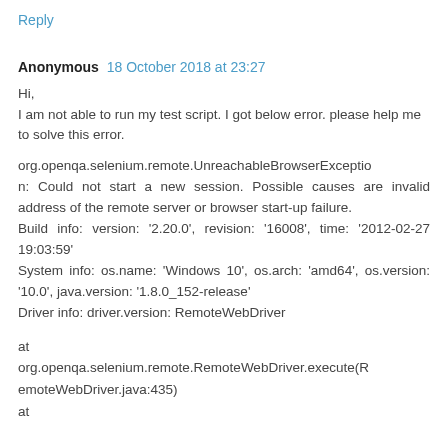Reply
Anonymous  18 October 2018 at 23:27
Hi,
I am not able to run my test script. I got below error. please help me to solve this error.
org.openqa.selenium.remote.UnreachableBrowserException: Could not start a new session. Possible causes are invalid address of the remote server or browser start-up failure.
Build info: version: '2.20.0', revision: '16008', time: '2012-02-27 19:03:59'
System info: os.name: 'Windows 10', os.arch: 'amd64', os.version: '10.0', java.version: '1.8.0_152-release'
Driver info: driver.version: RemoteWebDriver
at
org.openqa.selenium.remote.RemoteWebDriver.execute(RemoteWebDriver.java:435)
at